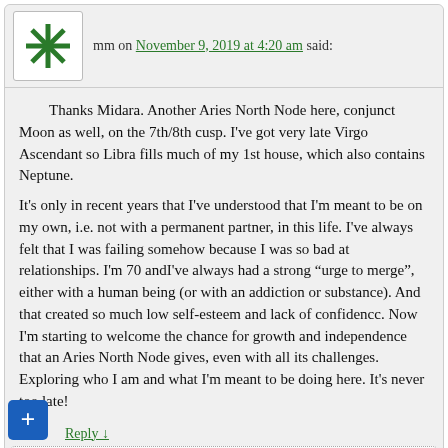mm on November 9, 2019 at 4:20 am said:
Thanks Midara. Another Aries North Node here, conjunct Moon as well, on the 7th/8th cusp. I've got very late Virgo Ascendant so Libra fills much of my 1st house, which also contains Neptune.
It's only in recent years that I've understood that I'm meant to be on my own, i.e. not with a permanent partner, in this life. I've always felt that I was failing somehow because I was so bad at relationships. I'm 70 andI've always had a strong “urge to merge”, either with a human being (or with an addiction or substance). And that created so much low self-esteem and lack of confidencc. Now I'm starting to welcome the chance for growth and independence that an Aries North Node gives, even with all its challenges. Exploring who I am and what I'm meant to be doing here. It's never too late!
Reply ↓
Midara on November 9, 2019 at 7:52 am said:
Welcome, mm!
Reply ↓